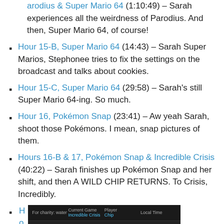arodius & Super Mario 64 (1:10:49) – Sarah experiences all the weirdness of Parodius. And then, Super Mario 64, of course!
Hour 15-B, Super Mario 64 (14:43) – Sarah Super Marios, Stephonee tries to fix the settings on the broadcast and talks about cookies.
Hour 15-C, Super Mario 64 (29:58) – Sarah's still Super Mario 64-ing. So much.
Hour 16, Pokémon Snap (23:41) – Aw yeah Sarah, shoot those Pokémons. I mean, snap pictures of them.
Hours 16-B & 17, Pokémon Snap & Incredible Crisis (40:22) – Sarah finishes up Pokémon Snap and her shift, and then A WILD CHIP RETURNS. To Crisis, Incredibly.
H o u r
[Figure (screenshot): Screenshot of a broadcast overlay showing Current Game: Incredible Crisis, Player: Chip, and Local Time columns on a dark background]